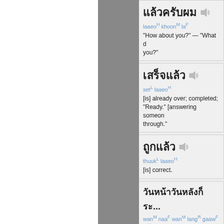laaeoH khoonM laF — How about you? — What did you say?
setL laaeoH — [is] already over; completed; Ready. [answering someone] through.
thuukL laaeoH — [is] correct.
wanM naaF wanM langR gaawF raH ... — Just be careful next time, hu...
yangM laoF maiF johpL khaoR gaawF ... — I haven't finished telling him... mad!